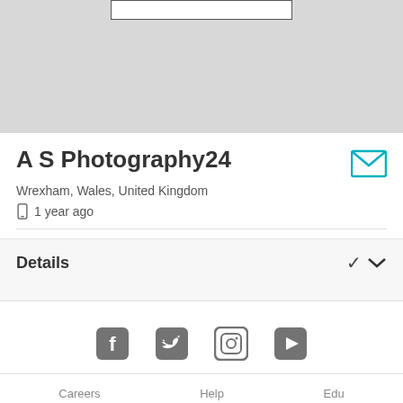[Figure (map): Gray map area with a search bar at the top center]
A S Photography24
Wrexham, Wales, United Kingdom
1 year ago
Details
[Figure (infographic): Social media icons: Facebook, Twitter, Instagram, YouTube]
Careers    Help    Edu